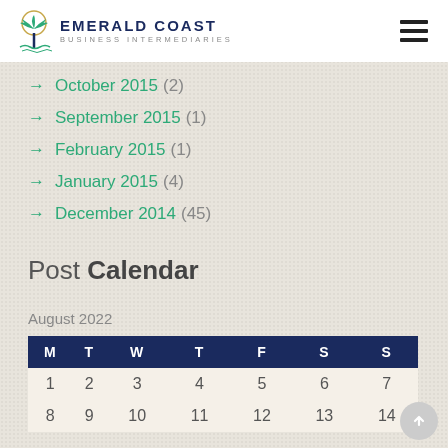Emerald Coast Business Intermediaries
→ October 2015 (2)
→ September 2015 (1)
→ February 2015 (1)
→ January 2015 (4)
→ December 2014 (45)
Post Calendar
August 2022
| M | T | W | T | F | S | S |
| --- | --- | --- | --- | --- | --- | --- |
| 1 | 2 | 3 | 4 | 5 | 6 | 7 |
| 8 | 9 | 10 | 11 | 12 | 13 | 14 |